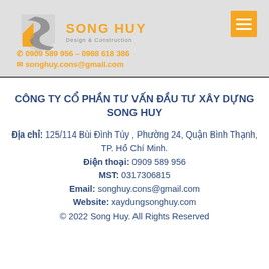[Figure (logo): Song Huy Design & Construction company logo with stylized S/H shield shape in gray and yellow, orange text SONG HUY, subtitle Design & Construction]
0909 589 956 – 0988 618 386
songhuy.cons@gmail.com
CÔNG TY CỔ PHẦN TƯ VẤN ĐẦU TƯ XÂY DỰNG SONG HUY
Địa chỉ: 125/114 Bùi Đình Túy , Phường 24, Quận Bình Thạnh, TP. Hồ Chí Minh.
Điện thoại: 0909 589 956
MST: 0317306815
Email: songhuy.cons@gmail.com
Website: xaydungsonghuy.com
© 2022 Song Huy. All Rights Reserved